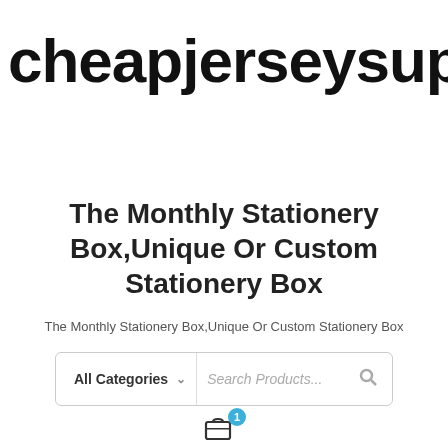cheapjerseysup
The Monthly Stationery Box,Unique Or Custom Stationery Box
The Monthly Stationery Box,Unique Or Custom Stationery Box
[Figure (screenshot): Search bar with 'All Categories' dropdown and 'Search Products...' placeholder text and a search icon]
[Figure (illustration): Shopping bag icon with a blue badge showing the number 1]